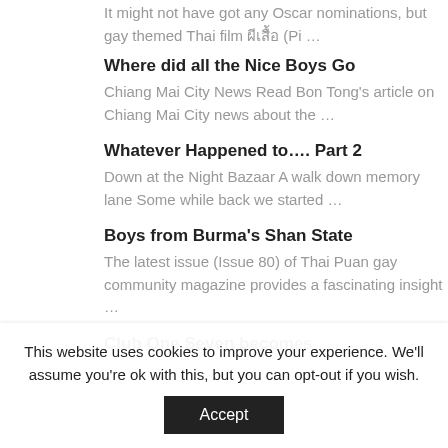It might not have got any Oscar nominations, but gay themed Thai film ผีเสื้อ (Pi …
Where did all the Nice Boys Go
Chiang Mai City News Read Bon Tong's article on Chiang Mai City news about the …
Whatever Happened to…. Part 2
Down at the Night Bazaar A walk down memory lane Some while back we started …
Boys from Burma's Shan State
The latest issue (Issue 80) of Thai Puan gay community magazine provides a fascinating insight …
Club One Seven becomes
This website uses cookies to improve your experience. We'll assume you're ok with this, but you can opt-out if you wish.